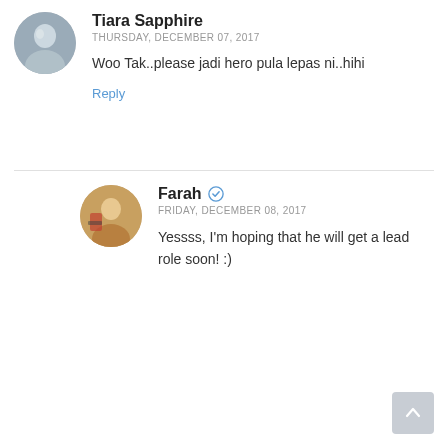Tiara Sapphire
THURSDAY, DECEMBER 07, 2017
Woo Tak..please jadi hero pula lepas ni..hihi
Reply
Farah
FRIDAY, DECEMBER 08, 2017
Yessss, I'm hoping that he will get a lead role soon! :)